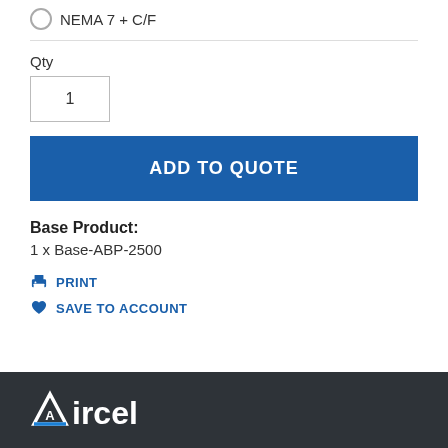NEMA 7 + C/F
Qty
1
ADD TO QUOTE
Base Product: 1 x Base-ABP-2500
PRINT
SAVE TO ACCOUNT
Aircel